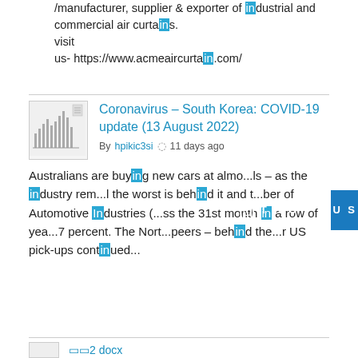/manufacturer, supplier & exporter of industrial and commercial air curtains. visit us- https://www.acmeaircurtain.com/
[Figure (other): Thumbnail image of a chart/graph document related to COVID-19 data]
Coronavirus – South Korea: COVID-19 update (13 August 2022)
By hpikic3si  11 days ago
Australians are buying new cars at almo...ls – as the industry rem...l the worst is behind it and t...ber of Automotive Industries (...ss the 31st month in a row of yea...7 percent. The Nort...peers – behind the...r US pick-ups continued...
🔲🔲2 docx